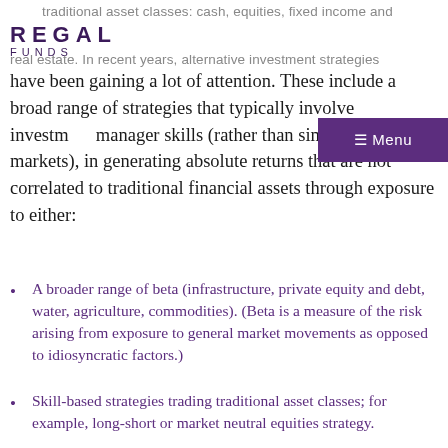REGAL FUNDS
traditional asset classes: cash, equities, fixed income and real estate. In recent years, alternative investment strategies have been gaining a lot of attention. These include a broad range of strategies that typically involve investment manager skills (rather than simply rising markets), in generating absolute returns that are not correlated to traditional financial assets through exposure to either:
A broader range of beta (infrastructure, private equity and debt, water, agriculture, commodities). (Beta is a measure of the risk arising from exposure to general market movements as opposed to idiosyncratic factors.)
Skill-based strategies trading traditional asset classes; for example, long-short or market neutral equities strategy.